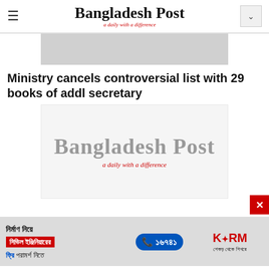Bangladesh Post — a daily with a difference
[Figure (other): Gray placeholder image at top of article]
Ministry cancels controversial list with 29 books of addl secretary
[Figure (logo): Bangladesh Post logo — large blackletter text with red italic subtitle 'a daily with a difference']
[Figure (infographic): Advertisement banner in Bangla for civil engineering consultation with phone number 16741 and KSRM brand logo]